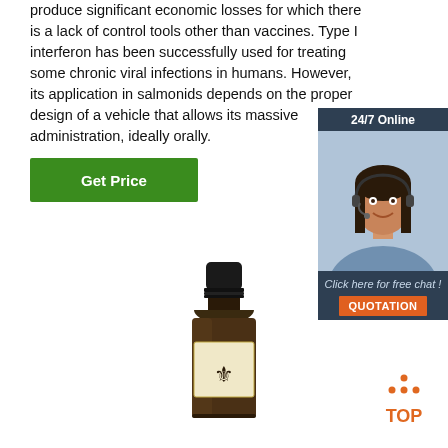produce significant economic losses for which there is a lack of control tools other than vaccines. Type I interferon has been successfully used for treating some chronic viral infections in humans. However, its application in salmonids depends on the proper design of a vehicle that allows its massive administration, ideally orally.
Get Price
[Figure (illustration): 24/7 online chat widget with a female customer service agent wearing a headset, with text 'Click here for free chat!' and an orange 'QUOTATION' button]
[Figure (photo): A small dark amber glass bottle with black cap and a label featuring a fleur-de-lis logo]
[Figure (logo): Orange 'TOP' text with decorative dot triangle above it, indicating a back-to-top button]